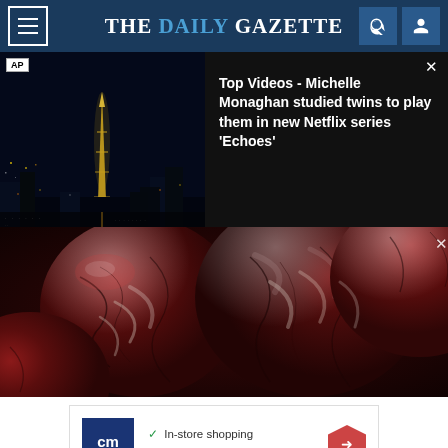THE DAILY GAZETTE
[Figure (screenshot): AP video thumbnail showing Paris city skyline at night with Eiffel Tower lit up, Netflix branding, for a story about Michelle Monaghan studying twins for Netflix series Echoes]
Top Videos - Michelle Monaghan studied twins to play them in new Netflix series 'Echoes'
[Figure (photo): Close-up photo of dark red Medjool dates with glistening surface]
[Figure (infographic): CM (grocery store) advertisement showing: checkmark In-store shopping, checkmark Curbside pickup, checkmark Delivery, with CM logo and navigation arrow icon]